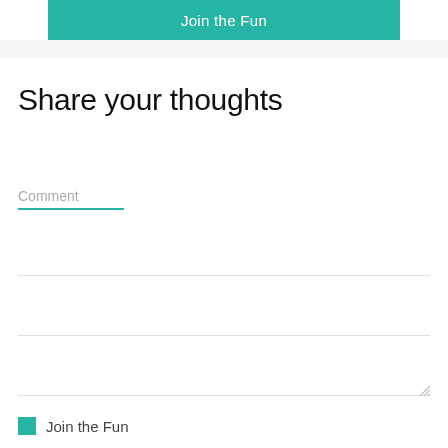[Figure (screenshot): Teal/green 'Join the Fun' button on a light gray background at the top of the page]
Share your thoughts
Comment
[Figure (screenshot): Comment text input area with teal underline and multiple gray divider lines, with a resize handle in the bottom right]
Join the Fun